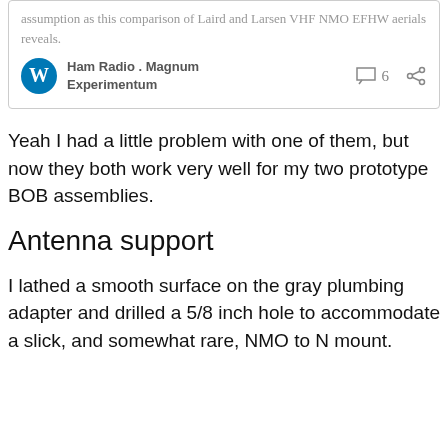assumption as this comparison of Laird and Larsen VHF NMO EFHW aerials reveals.
Ham Radio . Magnum Experimentum
Yeah I had a little problem with one of them, but now they both work very well for my two prototype BOB assemblies.
Antenna support
I lathed a smooth surface on the gray plumbing adapter and drilled a 5/8 inch hole to accommodate a slick, and somewhat rare, NMO to N mount.